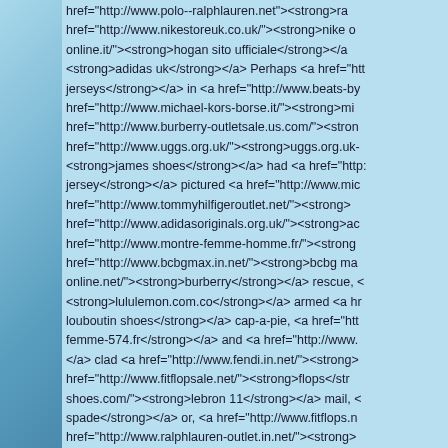href="http://www.polo--ralphlauren.net"><strong>ra href="http://www.nikestoreuk.co.uk/"><strong>nike o online.it/"><strong>hogan sito ufficiale</strong></a> <strong>adidas uk</strong></a> Perhaps <a href="htt jerseys</strong></a> in <a href="http://www.beats-by href="http://www.michael-kors-borse.it/"><strong>mi href="http://www.burberry-outletsale.us.com/"><stron href="http://www.uggs.org.uk/"><strong>uggs.org.uk- <strong>james shoes</strong></a> had <a href="http: jersey</strong></a> pictured <a href="http://www.mic href="http://www.tommyhilfigeroutlet.net/"><strong> href="http://www.adidasoriginals.org.uk/"><strong>ac href="http://www.montre-femme-homme.fr/"><strong href="http://www.bcbgmax.in.net/"><strong>bcbg ma online.net/"><strong>burberry</strong></a> rescue, < <strong>lululemon.com.co</strong></a> armed <a hr louboutin shoes</strong></a> cap-a-pie, <a href="htt femme-574.fr</strong></a> and <a href="http://www. </a> clad <a href="http://www.fendi.in.net/"><strong> href="http://www.fitflopsale.net/"><strong>flops</str shoes.com/"><strong>lebron 11</strong></a> mail, < spade</strong></a> or, <a href="http://www.fitflops.n href="http://www.ralphlauren-outlet.in.net/"><strong> href="http://www.guess-factory.com/"><strong>guess nfljerseys.in.net/"><strong>cheap nfl jerseys</strong> <strong>sunglasses outlet</strong></a> as <a href="h href="http://www.nikeairforce-1.fr/"><strong>air forc